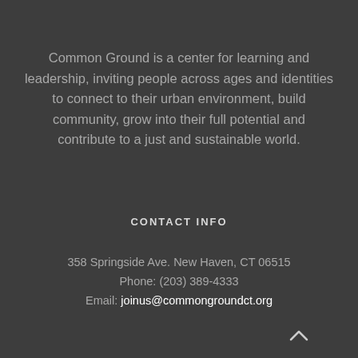Common Ground is a center for learning and leadership, inviting people across ages and identities to connect to their urban environment, build community, grow into their full potential and contribute to a just and sustainable world.
CONTACT INFO
358 Springside Ave. New Haven, CT 06515
Phone: (203) 389-4333
Email: joinus@commongroundct.org